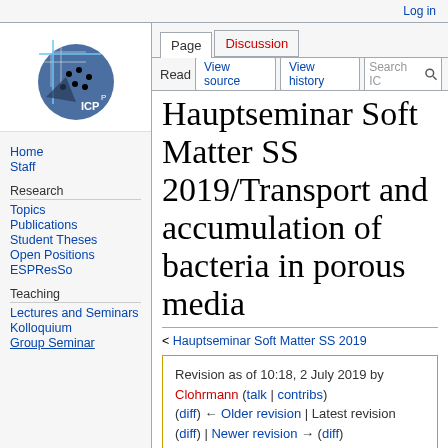Log in
[Figure (logo): ICP institute logo: blue circle with scatter plot points and grid lines, 'ICP' text]
Home
Staff
Research
Topics
Publications
Student Theses
Open Positions
ESPResSo
Teaching
Lectures and Seminars
Kolloquium
Group Seminar
Hauptseminar Soft Matter SS 2019/Transport and accumulation of bacteria in porous media
< Hauptseminar Soft Matter SS 2019
Revision as of 10:18, 2 July 2019 by Clohrmann (talk | contribs)
(diff) ← Older revision | Latest revision (diff) | Newer revision → (diff)